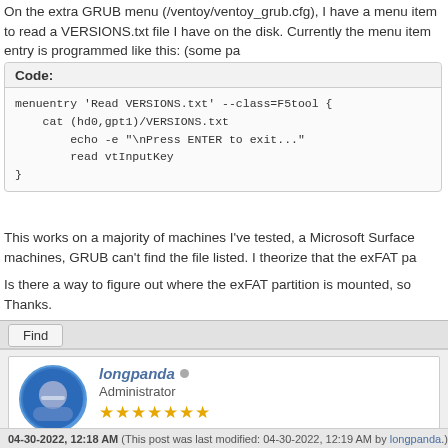On the extra GRUB menu (/ventoy/ventoy_grub.cfg), I have a menu item to read a VERSIONS.txt file I have on the disk. Currently the menu item entry is programmed like this: (some pa
Code:
This works on a majority of machines I've tested, a Microsoft Surface machines, GRUB can't find the file listed. I theorize that the exFAT pa
Is there a way to figure out where the exFAT partition is mounted, so
Thanks.
Find
longpanda ● Administrator ★★★★★★★
04-30-2022, 12:18 AM (This post was last modified: 04-30-2022, 12:19 AM by longpanda.)